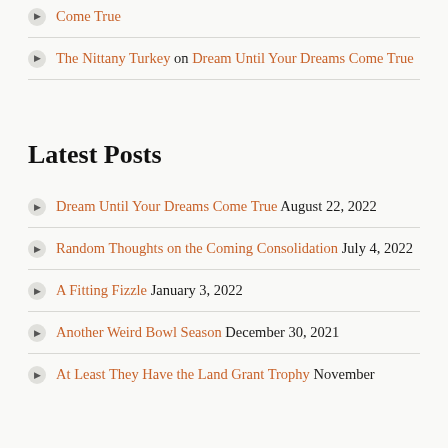Come True
The Nittany Turkey on Dream Until Your Dreams Come True
Latest Posts
Dream Until Your Dreams Come True August 22, 2022
Random Thoughts on the Coming Consolidation July 4, 2022
A Fitting Fizzle January 3, 2022
Another Weird Bowl Season December 30, 2021
At Least They Have the Land Grant Trophy November